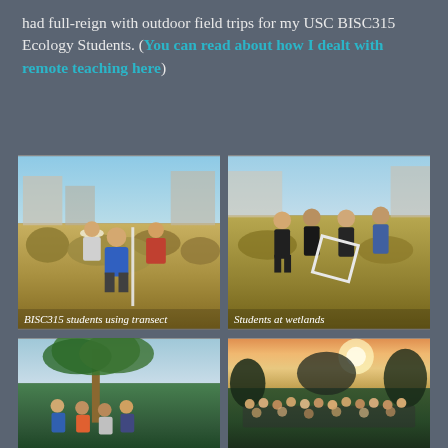had full-reign with outdoor field trips for my USC BISC315 Ecology Students. (You can read about how I dealt with remote teaching here)
[Figure (photo): Students in a field/scrubland area using a transect stake to measure vegetation. One student in blue jacket bends down near the transect. Others stand nearby. Caption reads: BISC315 students using transect]
[Figure (photo): Group of students wearing masks standing in a wetland/scrubland area, one holding a white square frame quadrat. Caption reads: Students at wetlands]
[Figure (photo): Small group of masked students gathered near a large palm tree in an outdoor setting.]
[Figure (photo): Large group of masked students gathered outdoors with sunlight filtering through trees in background.]